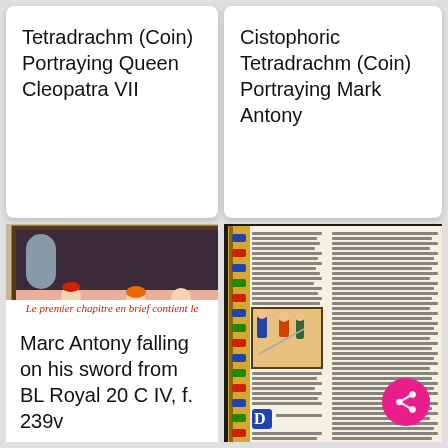Tetradrachm (Coin) Portraying Queen Cleopatra VII
Cistophoric Tetradrachm (Coin) Portraying Mark Antony
[Figure (illustration): Medieval manuscript illumination showing Marc Antony falling on his sword, with figures in medieval dress on a tiled floor. Red italic caption below reads: Le premier chapitre en brief contient le]
Le premier chapitre en brief contient le
Marc Antony falling on his sword from BL Royal 20 C IV, f. 239v
[Figure (photo): Photograph of an illuminated manuscript page with decorated border, showing columns of medieval French text and a miniature illustration of a scene with figures. A pink share button is visible at bottom right.]